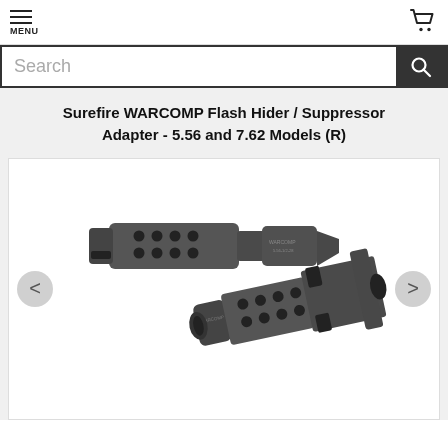MENU | Cart
Search
Surefire WARCOMP Flash Hider / Suppressor Adapter - 5.56 and 7.62 Models (R)
[Figure (photo): Two Surefire WARCOMP flash hider / suppressor adapters shown on white background — one laying on its side showing the ported cylindrical body with multiple holes, and one standing upright at an angle showing the front prong design and muzzle end.]